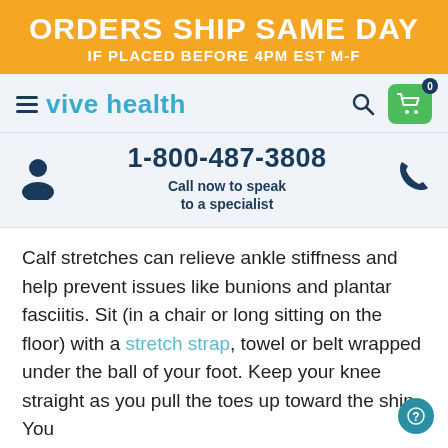ORDERS SHIP SAME DAY
IF PLACED BEFORE 4PM EST M-F
[Figure (screenshot): Vive Health website navigation bar with hamburger menu, logo, search icon, and shopping cart with badge showing 0]
[Figure (infographic): Phone number 1-800-487-3808 with call to action 'Call now to speak to a specialist', person icon on left, phone icon on right]
Calf stretches can relieve ankle stiffness and help prevent issues like bunions and plantar fasciitis. Sit (in a chair or long sitting on the floor) with a stretch strap, towel or belt wrapped under the ball of your foot. Keep your knee straight as you pull the toes up toward the shin. You